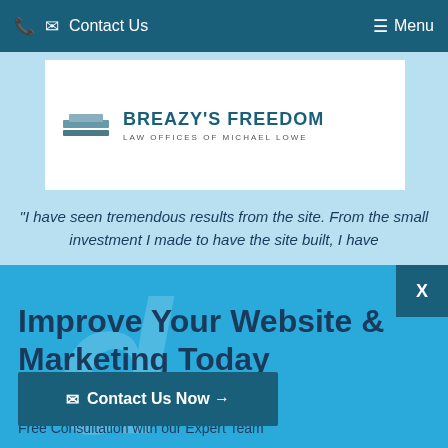Contact Us   Menu
[Figure (logo): Breazy's Freedom - Law Offices of Michael Lowe logo with stylized graphic]
"I have seen tremendous results from the site. From the small investment I made to have the site built, I have
Improve Your Website & Marketing Today
Free Consultation with our Expert Team
Contact Us Now →